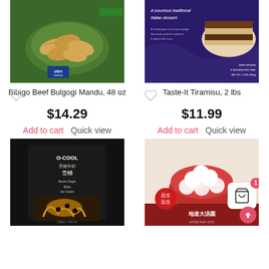[Figure (photo): Bibigo Beef Bulgogi Mandu frozen dumplings product package on green background]
[Figure (photo): Taste-It Tiramisu dessert product on dark blue background]
Bibigo Beef Bulgogi Mandu, 48 oz
Taste-It Tiramisu, 2 lbs
$14.29
$11.99
Add to cart
Quick view
Add to cart
Quick view
[Figure (photo): O-COOL Brown Sugar Boba Ice Cream product on black background]
[Figure (photo): Chinese tang yuan (rice balls) product box with red bowl]